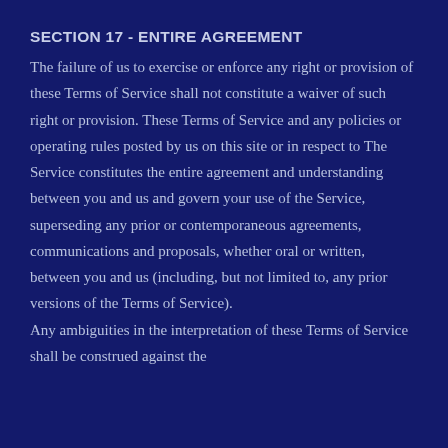SECTION 17 - ENTIRE AGREEMENT
The failure of us to exercise or enforce any right or provision of these Terms of Service shall not constitute a waiver of such right or provision. These Terms of Service and any policies or operating rules posted by us on this site or in respect to The Service constitutes the entire agreement and understanding between you and us and govern your use of the Service, superseding any prior or contemporaneous agreements, communications and proposals, whether oral or written, between you and us (including, but not limited to, any prior versions of the Terms of Service).
Any ambiguities in the interpretation of these Terms of Service shall be construed against the